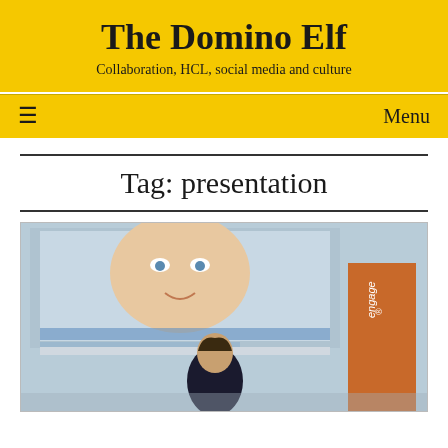The Domino Elf
Collaboration, HCL, social media and culture
≡  Menu
Tag: presentation
[Figure (photo): A person presenting at a conference in front of a large screen showing a face, with an 'engage' branded banner visible on the right side]